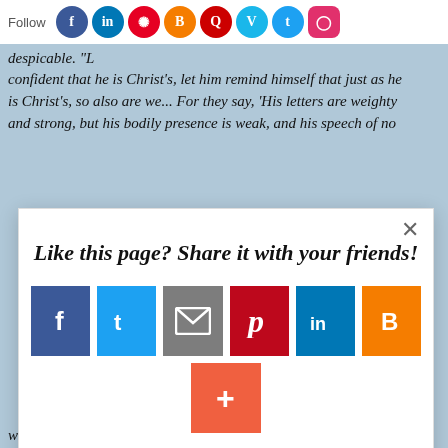while his words are powerful, bold and weighty, his appearance is be weak in his bodily presence... despicable. "Lo... confident that he is Christ's, let him remind himself that just as he is Christ's, so also are we... For they say, 'His letters are weighty and strong, but his bodily presence is weak, and his speech of no
[Figure (screenshot): A social sharing modal popup with 'Like this page? Share it with your friends!' heading, featuring share buttons for Facebook, Twitter, Email, Pinterest, LinkedIn, Blogger, and a plus button. Above the modal is a follow bar with social network icons. An AddThis watermark appears at bottom right.]
what is in front of their eyes... what we show them, God warns us